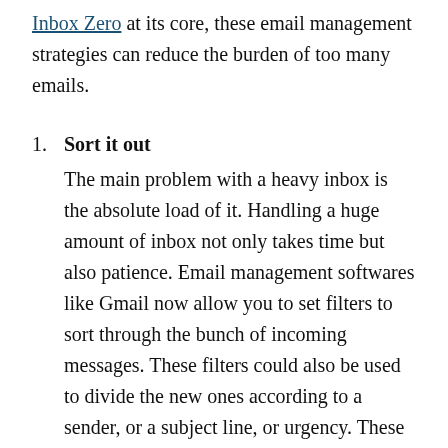Inbox Zero at its core, these email management strategies can reduce the burden of too many emails.
Sort it out
The main problem with a heavy inbox is the absolute load of it. Handling a huge amount of inbox not only takes time but also patience. Email management softwares like Gmail now allow you to set filters to sort through the bunch of incoming messages. These filters could also be used to divide the new ones according to a sender, or a subject line, or urgency. These filters point to separate folders. Thus all incoming messages are sorted into these folders.
This email management strategy also helps...